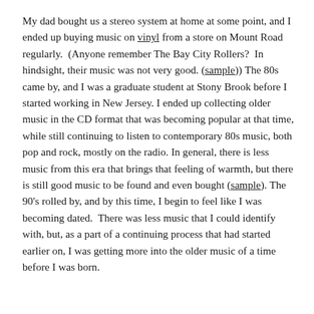My dad bought us a stereo system at home at some point, and I ended up buying music on vinyl from a store on Mount Road regularly. (Anyone remember The Bay City Rollers? In hindsight, their music was not very good. (sample)) The 80s came by, and I was a graduate student at Stony Brook before I started working in New Jersey. I ended up collecting older music in the CD format that was becoming popular at that time, while still continuing to listen to contemporary 80s music, both pop and rock, mostly on the radio. In general, there is less music from this era that brings that feeling of warmth, but there is still good music to be found and even bought (sample). The 90's rolled by, and by this time, I begin to feel like I was becoming dated. There was less music that I could identify with, but, as a part of a continuing process that had started earlier on, I was getting more into the older music of a time before I was born.